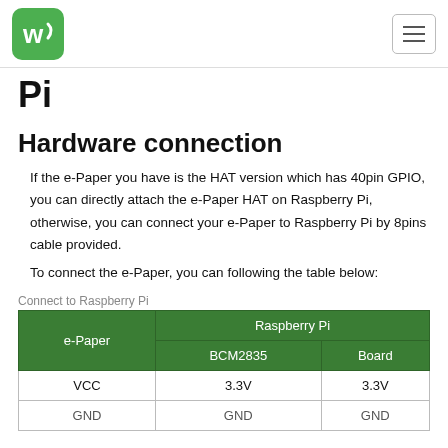WS logo and hamburger menu
Pi
Hardware connection
If the e-Paper you have is the HAT version which has 40pin GPIO, you can directly attach the e-Paper HAT on Raspberry Pi, otherwise, you can connect your e-Paper to Raspberry Pi by 8pins cable provided.
To connect the e-Paper, you can following the table below:
Connect to Raspberry Pi
| e-Paper | Raspberry Pi BCM2835 | Raspberry Pi Board |
| --- | --- | --- |
| VCC | 3.3V | 3.3V |
| GND | GND | GND |